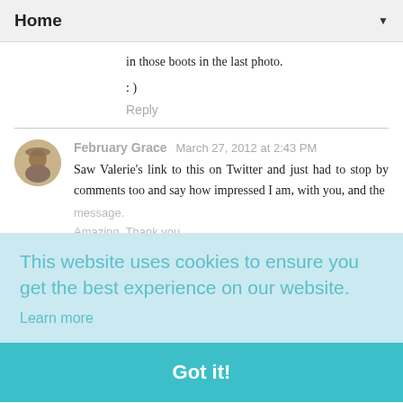Home ▼
in those boots in the last photo.
: )
Reply
February Grace  March 27, 2012 at 2:43 PM
Saw Valerie's link to this on Twitter and just had to stop by comments too and say how impressed I am, with you, and the message.
Amazing. Thank you.
This website uses cookies to ensure you get the best experience on our website.
Learn more
Got it!